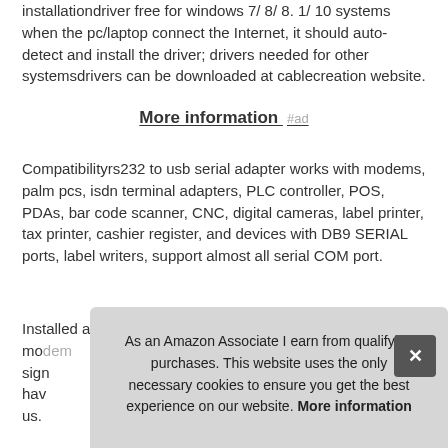installationdriver free for windows 7/ 8/ 8. 1/ 10 systems when the pc/laptop connect the Internet, it should auto-detect and install the driver; drivers needed for other systemsdrivers can be downloaded at cablecreation website.
More information #ad
Compatibilityrs232 to usb serial adapter works with modems, palm pcs, isdn terminal adapters, PLC controller, POS, PDAs, bar code scanner, CNC, digital cameras, label printer, tax printer, cashier register, and devices with DB9 SERIAL ports, label writers, support almost all serial COM port.
Installed as a standard windows com ports, such as a mo... sign... hav... us.
As an Amazon Associate I earn from qualifying purchases. This website uses the only necessary cookies to ensure you get the best experience on our website. More information